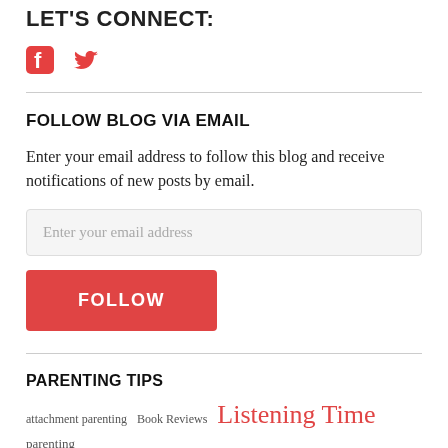LET'S CONNECT:
[Figure (illustration): Facebook and Twitter social media icons in red]
FOLLOW BLOG VIA EMAIL
Enter your email address to follow this blog and receive notifications of new posts by email.
Enter your email address
FOLLOW
PARENTING TIPS
attachment parenting   Book Reviews   Listening Time   parenting